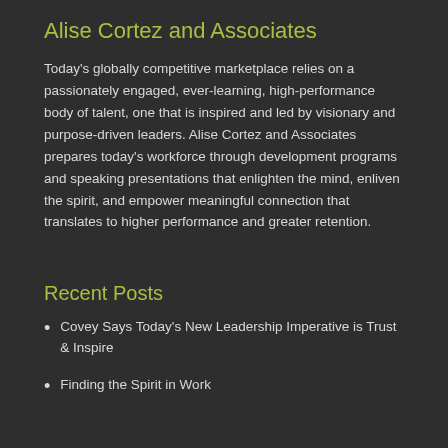Alise Cortez and Associates
Today's globally competitive marketplace relies on a passionately engaged, ever-learning, high-performance body of talent, one that is inspired and led by visionary and purpose-driven leaders. Alise Cortez and Associates prepares today's workforce through development programs and speaking presentations that enlighten the mind, enliven the spirit, and empower meaningful connection that translates to higher performance and greater retention.
Recent Posts
Covey Says Today's New Leadership Imperative is Trust & Inspire
Finding the Spirit in Work